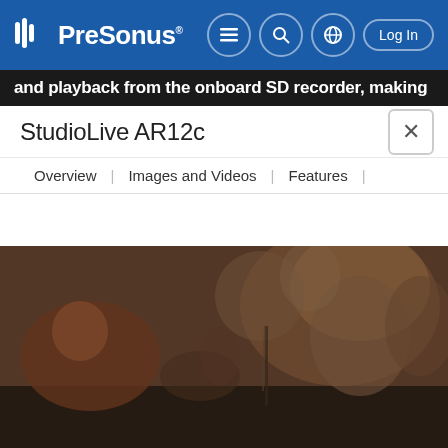PreSonus — navigation bar with menu, search, globe, and Log In buttons
and playback from the onboard SD recorder, making
StudioLive AR12c
Overview | Images and Videos | Features |
[Figure (photo): Photo of musicians playing instruments in a blurred studio background, with a laptop in the foreground displaying a DAW (Studio One) multitrack recording session with colorful pink, red, teal, green, and purple audio tracks.]